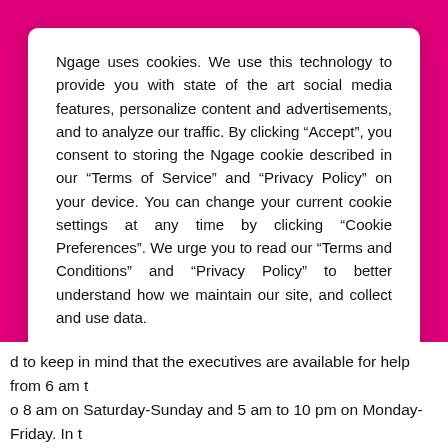Ngage uses cookies. We use this technology to provide you with state of the art social media features, personalize content and advertisements, and to analyze our traffic. By clicking “Accept”, you consent to storing the Ngage cookie described in our “Terms of Service” and “Privacy Policy” on your device. You can change your current cookie settings at any time by clicking “Cookie Preferences”. We urge you to read our “Terms and Conditions” and “Privacy Policy” to better understand how we maintain our site, and collect and use data.
Accept
Read More
d to keep in mind that the executives are available for help from 6 am to 8 am on Saturday-Sunday and 5 am to 10 pm on Monday-Friday. In this given time slot you can get proper help from the team BELLSOUTH MAIL